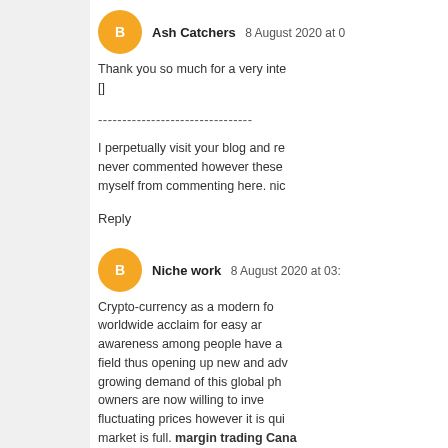Ash Catchers 8 August 2020 at 0…
Thank you so much for a very inte… []
--------------------------------
I perpetually visit your blog and re… never commented however these… myself from commenting here. nic…
Reply
Niche work 8 August 2020 at 03:…
Crypto-currency as a modern fo… worldwide acclaim for easy ar… awareness among people have a… field thus opening up new and adv… growing demand of this global ph… owners are now willing to inve… fluctuating prices however it is qui… market is full. margin trading Cana…
Reply